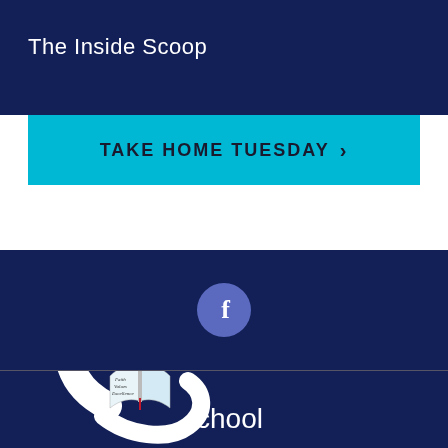The Inside Scoop
TAKE HOME TUESDAY >
[Figure (logo): Facebook icon in a circular button on dark navy background]
[Figure (logo): St. Joseph School logo with large decorative S, cross, heart, open book reading 'Faith Values Excellence', and text 'School Joseph' arranged decoratively on dark navy background]